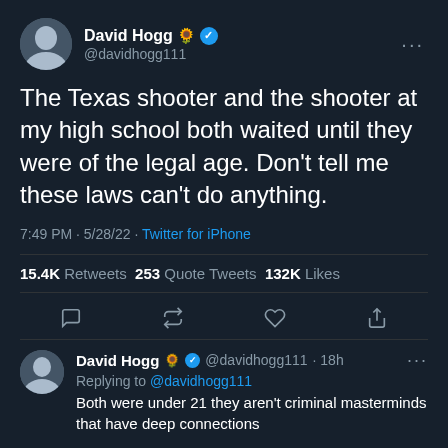David Hogg 🌻 ✓ @davidhogg111
The Texas shooter and the shooter at my high school both waited until they were of the legal age. Don't tell me these laws can't do anything.
7:49 PM · 5/28/22 · Twitter for iPhone
15.4K Retweets  253 Quote Tweets  132K Likes
David Hogg 🌻 ✓ @davidhogg111 · 18h  Replying to @davidhogg111  Both were under 21 they aren't criminal masterminds that have deep connections